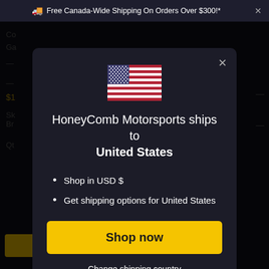🚚 Free Canada-Wide Shipping On Orders Over $300!*  ×
[Figure (illustration): US flag emoji/illustration centered in modal]
HoneyComb Motorsports ships to United States
Shop in USD $
Get shipping options for United States
Shop now
Change shipping country